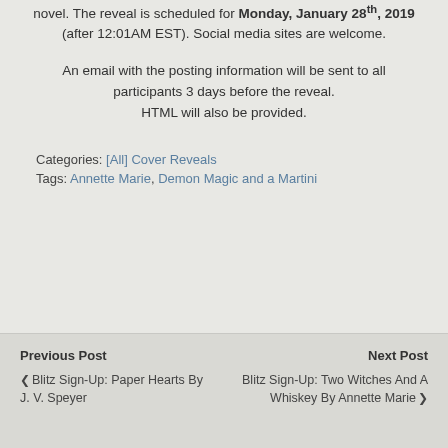novel. The reveal is scheduled for Monday, January 28th, 2019 (after 12:01AM EST). Social media sites are welcome.
An email with the posting information will be sent to all participants 3 days before the reveal. HTML will also be provided.
Categories: [All] Cover Reveals
Tags: Annette Marie, Demon Magic and a Martini
Previous Post | Blitz Sign-Up: Paper Hearts By J. V. Speyer | Next Post | Blitz Sign-Up: Two Witches And A Whiskey By Annette Marie